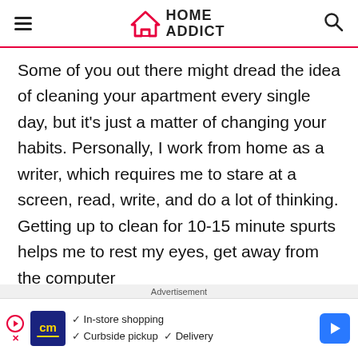HOME ADDICT
Some of you out there might dread the idea of cleaning your apartment every single day, but it's just a matter of changing your habits. Personally, I work from home as a writer, which requires me to stare at a screen, read, write, and do a lot of thinking. Getting up to clean for 10-15 minute spurts helps me to rest my eyes, get away from the computer
Advertisement
[Figure (other): Advertisement banner for a store with CM logo, checkmark list showing In-store shopping, Curbside pickup, Delivery, and a blue arrow button]